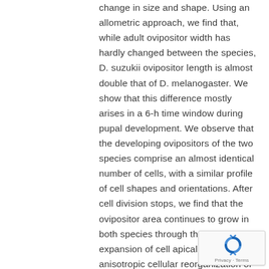change in size and shape. Using an allometric approach, we find that, while adult ovipositor width has hardly changed between the species, D. suzukii ovipositor length is almost double that of D. melanogaster. We show that this difference mostly arises in a 6-h time window during pupal development. We observe that the developing ovipositors of the two species comprise an almost identical number of cells, with a similar profile of cell shapes and orientations. After cell division stops, we find that the ovipositor area continues to grow in both species through the isotropic expansion of cell apical area and the anisotropic cellular reorganization of the tissue. Remarkably, we find that the lengthening of the D.